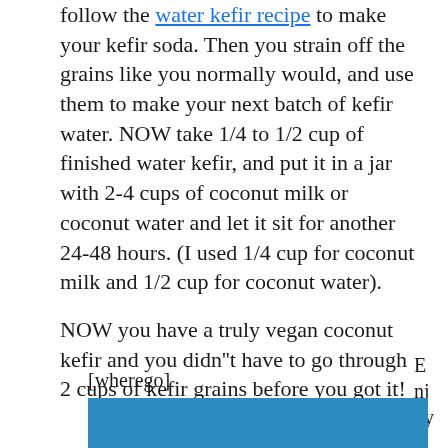follow the water kefir recipe to make your kefir soda. Then you strain off the grains like you normally would, and use them to make your next batch of kefir water. NOW take 1/4 to 1/2 cup of finished water kefir, and put it in a jar with 2-4 cups of coconut milk or coconut water and let it sit for another 24-48 hours. (I used 1/4 cup for coconut milk and 1/2 cup for coconut water).

NOW you have a truly vegan coconut kefir and you didn''t have to go through 2 cups of kefir grains before you got it!
[wherego]
Enjoy
[Figure (other): Blue rectangular banner/button element]